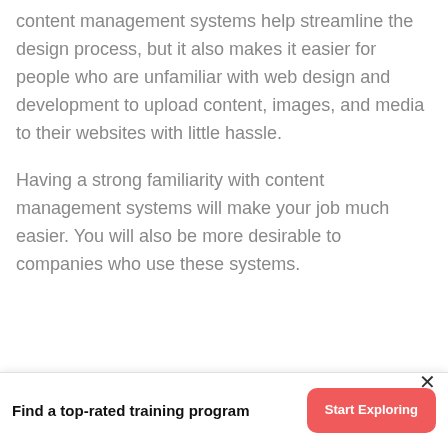content management systems help streamline the design process, but it also makes it easier for people who are unfamiliar with web design and development to upload content, images, and media to their websites with little hassle.
Having a strong familiarity with content management systems will make your job much easier. You will also be more desirable to companies who use these systems.
Problem Solving
Find a top-rated training program
Start Exploring